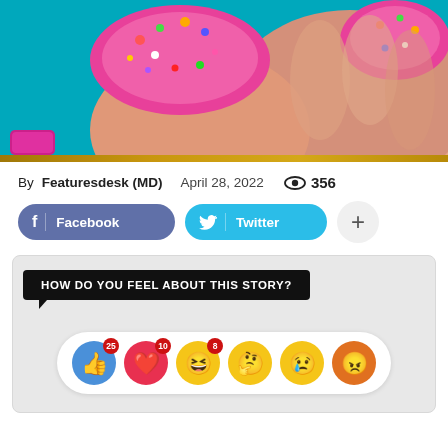[Figure (photo): Close-up photo of a hand with decorative pink nails covered in colorful sprinkles/candy decorations against a teal background]
By Featuresdesk (MD)  April 28, 2022  ◉ 356
[Figure (infographic): Social share buttons: Facebook (dark blue), Twitter (light blue), and a plus button]
[Figure (infographic): Reaction section with speech bubble 'HOW DO YOU FEEL ABOUT THIS STORY?' and emoji reaction bar showing: thumbs up (25), heart (10), laughing (8), thinking, sad, angry faces]